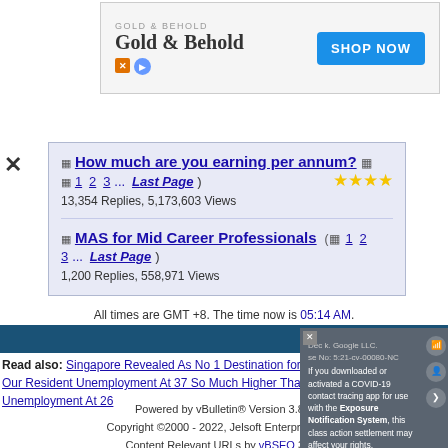[Figure (screenshot): Advertisement banner: Gold & Behold with SHOP NOW button]
How much are you earning per annum? 1 2 3... Last Page — 13,354 Replies, 5,173,603 Views
MAS for Mid Career Professionals (1 2 3... Last Page) — 1,200 Replies, 558,971 Views
All times are GMT +8. The time now is 05:14 AM.
www.Sal...
Read also: Singapore Revealed As No 1 Destination for ... Our Resident Unemployment At 37 So Much Higher Tha... Unemployment At 26
[Figure (screenshot): Google LLC popup: COVID-19 contact tracing app class action settlement notification]
Powered by vBulletin® Version 3.8.5 Copyright ©2000 - 2022, Jelsoft Enterprises Ltd. Content Relevant URLs by vBSEO 3.3.2